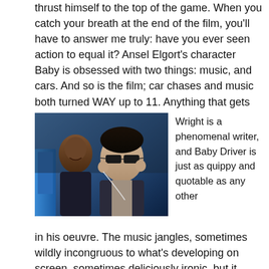thrust himself to the top of the game. When you catch your breath at the end of the film, you'll have to answer me truly: have you ever seen action to equal it? Ansel Elgort's character Baby is obsessed with two things: music, and cars. And so is the film; car chases and music both turned WAY up to 11. Anything that gets between them is incidental.
[Figure (photo): Two men seated in a car — one in the background (left) and one in the foreground (right) wearing sunglasses and adjusting earbuds. A blue car door is visible at the left edge. Scene from the movie Baby Driver.]
Wright is a phenomenal writer, and Baby Driver is just as quippy and quotable as any other
in his oeuvre. The music jangles, sometimes wildly incongruous to what's developing on screen, sometimes deliciously ironic, but it stitches the film together between